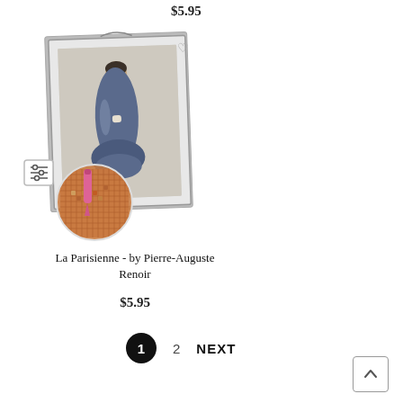$5.95
[Figure (illustration): Framed painting of La Parisienne by Pierre-Auguste Renoir showing a woman in a blue dress, with a circular close-up inset of diamond painting tools on a canvas, and a small filter/settings icon overlay]
La Parisienne - by Pierre-Auguste Renoir
$5.95
1  2  NEXT